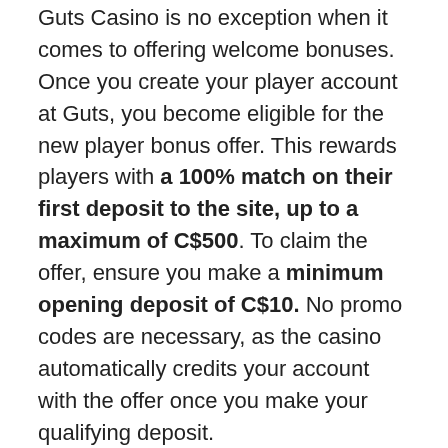Guts Casino is no exception when it comes to offering welcome bonuses. Once you create your player account at Guts, you become eligible for the new player bonus offer. This rewards players with a 100% match on their first deposit to the site, up to a maximum of C$500. To claim the offer, ensure you make a minimum opening deposit of C$10. No promo codes are necessary, as the casino automatically credits your account with the offer once you make your qualifying deposit.
How can I get free spins at Guts Casino?